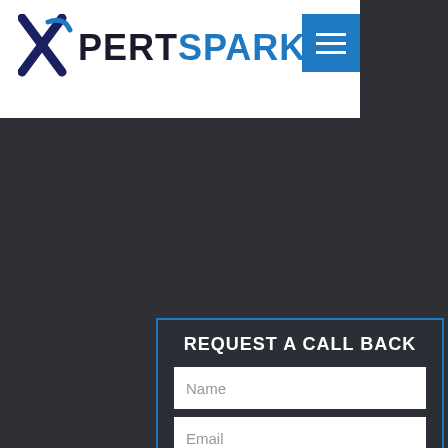[Figure (logo): Xpert Sparky logo with X mark symbol in navy/blue and blue hamburger menu button]
REQUEST A CALL BACK
Name
Email
Phone